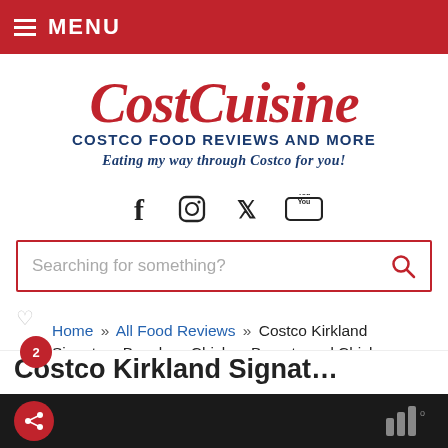MENU
[Figure (logo): CostCuisine logo with tagline: COSTCO FOOD REVIEWS AND MORE / Eating my way through Costco for you!]
[Figure (infographic): Social media icons: Facebook, Instagram, Twitter, YouTube]
Searching for something?
Home » All Food Reviews » Costco Kirkland Signature Boneless Chicken Breasts and Chicken Parmesan Recipe
Costco Kirkland Signat…